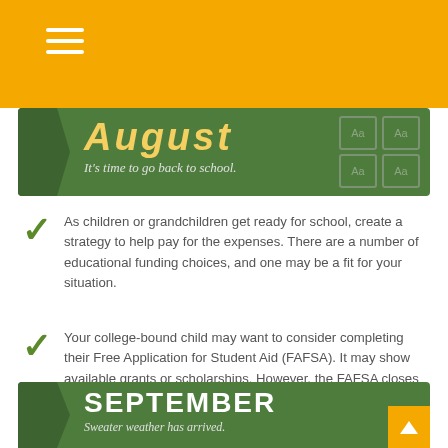[Figure (infographic): August back-to-school banner: green chalkboard background with yellow italic 'AUGUST' text and subtitle 'It's time to go back to school.']
As children or grandchildren get ready for school, create a strategy to help pay for the expenses. There are a number of educational funding choices, and one may be a fit for your situation.
Your college-bound child may want to consider completing their Free Application for Student Aid (FAFSA). It may show available grants or scholarships. However, the FAFSA closes this month, so don't delay.
[Figure (infographic): September seasonal banner: green background with white bold 'SEPTEMBER' text and subtitle 'Sweater weather has arrived.']